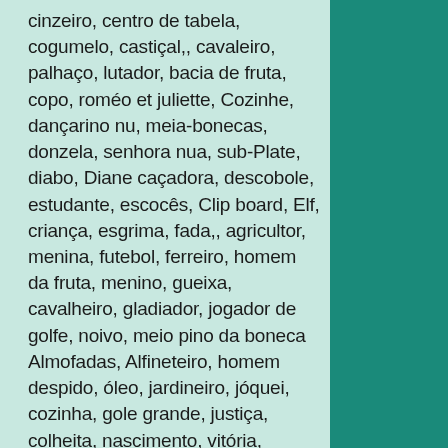cinzeiro, centro de tabela, cogumelo, castiçal,, cavaleiro, palhaço, lutador, bacia de fruta, copo, roméo et juliette, Cozinhe, dançarino nu, meia-bonecas, donzela, senhora nua, sub-Plate, diabo, Diane caçadora, descobole, estudante, escocês, Clip board, Elf, criança, esgrima, fada,, agricultor, menina, futebol, ferreiro, homem da fruta, menino, gueixa, cavalheiro, gladiador, jogador de golfe, noivo, meio pino da boneca Almofadas, Alfineteiro, homem despido, óleo, jardineiro, jóquei, cozinha, gole grande, justiça, colheita, nascimento, vitória, videira, jardim, despertar, estrela cadente, oOvo, lupa, doente, maquilhagem. Os animais também estão no centro de nossa pesquisa; Águia, Garça, animal e animais de caça, animais de fazenda, animais domésticos, animais selvagens, aranha, carneiro, pastor, pugilista, pique, pato, caribu, veado, Cetáceos,